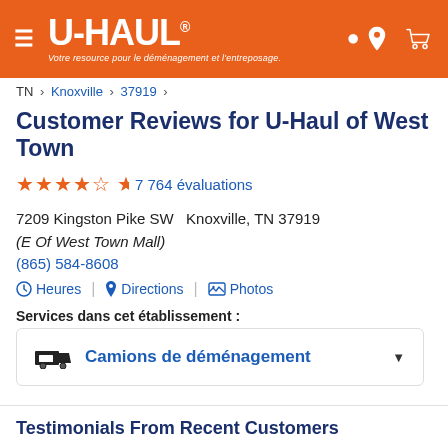[Figure (logo): U-Haul logo with orange header background, hamburger menu icon on left, location pin and cart icons on right. Tagline: 'Votre resource pour le déménagement et l'entreposage.']
TN > Knoxville > 37919 >
Customer Reviews for U-Haul of West Town
7 764 évaluations
7209 Kingston Pike SW  Knoxville, TN 37919
(E Of West Town Mall)
(865) 584-8608
⊙ Heures | ◉ Directions | 🖼 Photos
Services dans cet établissement :
Camions de déménagement
Testimonials From Recent Customers